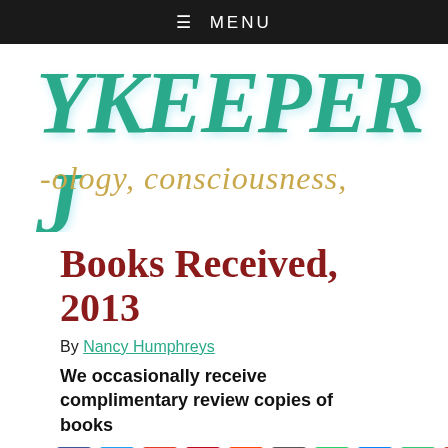≡ MENU
[Figure (logo): Skykeeper Journal logo with teal block letters 'YKEEPER J' and gold script text '-ology, consciousness,']
Books Received, 2013
By Nancy Humphreys
We occasionally receive complimentary review copies of books